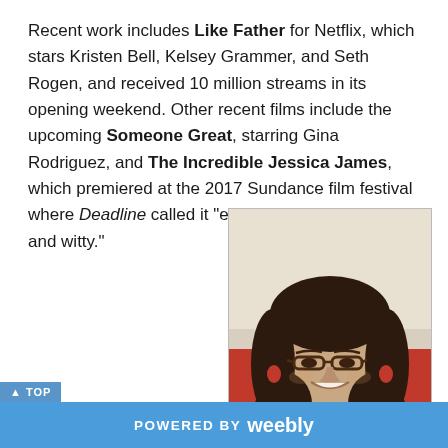Recent work includes Like Father for Netflix, which stars Kristen Bell, Kelsey Grammer, and Seth Rogen, and received 10 million streams in its opening weekend. Other recent films include the upcoming Someone Great, starring Gina Rodriguez, and The Incredible Jessica James, which premiered at the 2017 Sundance film festival where Deadline called it "enchanting, deftly-written and witty."
[Figure (photo): Headshot photo of a smiling woman with dark hair, glasses, and wearing dark clothing]
POWERED BY weebly